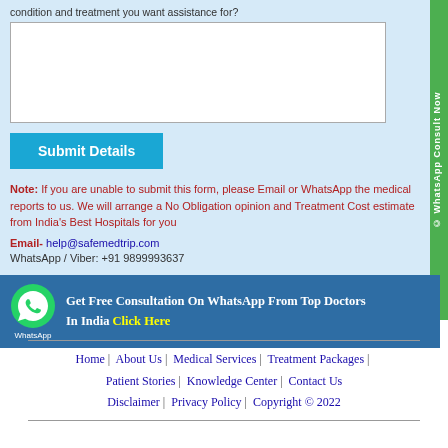condition and treatment you want assistance for?
[textarea input box]
Submit Details
Note: If you are unable to submit this form, please Email or WhatsApp the medical reports to us. We will arrange a No Obligation opinion and Treatment Cost estimate from India's Best Hospitals for you
Email- help@safemedtrip.com
WhatsApp / Viber: +91 9899993637
Get Free Consultation On WhatsApp From Top Doctors In India Click Here
Home | About Us | Medical Services | Treatment Packages | Patient Stories | Knowledge Center | Contact Us
Disclaimer | Privacy Policy | Copyright © 2022